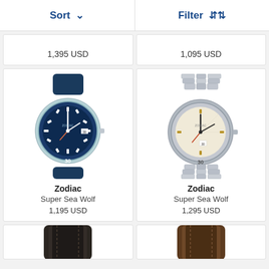Sort ↓   Filter ↕
1,395 USD
1,095 USD
[Figure (photo): Zodiac Super Sea Wolf watch with blue dial and navy leather strap, light blue bezel]
Zodiac
Super Sea Wolf
1,195 USD
[Figure (photo): Zodiac Super Sea Wolf watch with cream/white dial and stainless steel bracelet, silver bezel]
Zodiac
Super Sea Wolf
1,295 USD
[Figure (photo): Partial view of a watch with dark/black leather strap]
[Figure (photo): Partial view of a watch with brown leather strap]